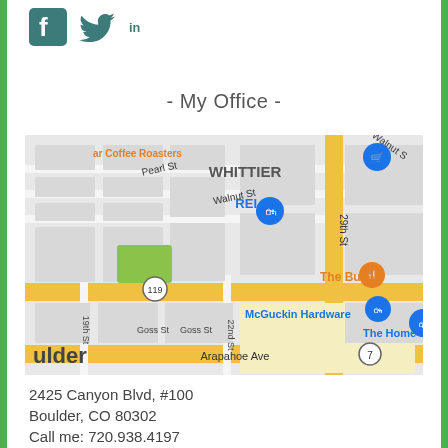[Figure (illustration): Social media icons: Facebook, Twitter, LinkedIn in teal/dark green color]
- My Office -
[Figure (map): Google Maps screenshot showing Boulder, CO area near 2425 Canyon Blvd. Landmarks visible: ar Coffee Roasters, WHITTIER neighborhood, Pearl St, Walnut St, REI, The Buff, McGuckin Hardware, The Home Depot, Goss St, 22nd St, 19th St, 29th St, Arapahoe Ave, Route 7, Route 119.]
2425 Canyon Blvd, #100
Boulder, CO 80302
Call me: 720.938.4197